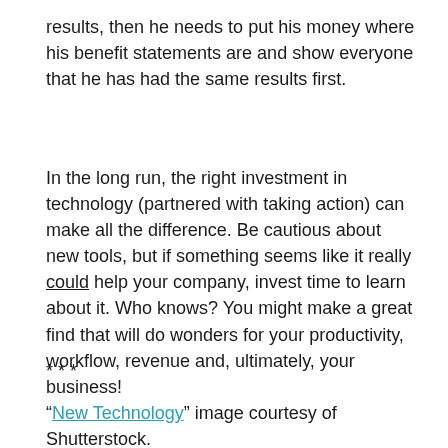results, then he needs to put his money where his benefit statements are and show everyone that he has had the same results first.
In the long run, the right investment in technology (partnered with taking action) can make all the difference. Be cautious about new tools, but if something seems like it really could help your company, invest time to learn about it. Who knows? You might make a great find that will do wonders for your productivity, workflow, revenue and, ultimately, your business!
* * *
“New Technology” image courtesy of Shutterstock.